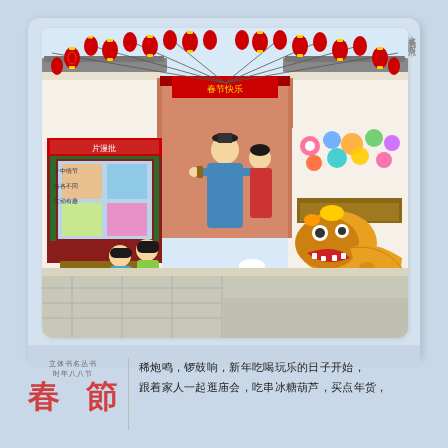[Figure (illustration): A 3D pop-up book illustration depicting a traditional Chinese New Year street scene with red lanterns hanging above, people in traditional clothing, a lion dance, children playing, market stalls including a photo/picture shop and toy shop, set in a courtyard with white walls and gray stone floor.]
立体书名丛书 时年八八节
春 節
稀炮鸣，锣鼓响，新年吃喝玩乐的日子开始，跟着家人一起逛庙会，吃串冰糖葫芦，买点年货，